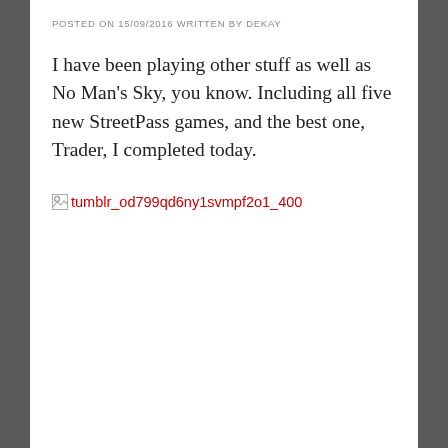POSTED ON 15/09/2016 WRITTEN BY DEKAY
I have been playing other stuff as well as No Man's Sky, you know. Including all five new StreetPass games, and the best one, Trader, I completed today.
[Figure (photo): Broken image placeholder with alt text: tumblr_od799qd6ny1svmpf2o1_400]